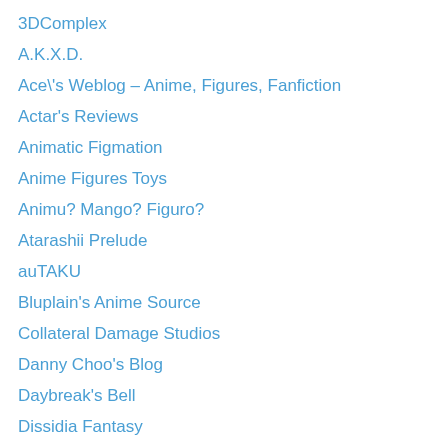3DComplex
A.K.X.D.
Ace\'s Weblog – Anime, Figures, Fanfiction
Actar's Reviews
Animatic Figmation
Anime Figures Toys
Animu? Mango? Figuro?
Atarashii Prelude
auTAKU
Bluplain's Anime Source
Collateral Damage Studios
Danny Choo's Blog
Daybreak's Bell
Dissidia Fantasy
ELTWorld
Foo-Bar-Baz
Furu Anime Panikku
Gordonator
Hobby Chaos
Hobby Link Japan